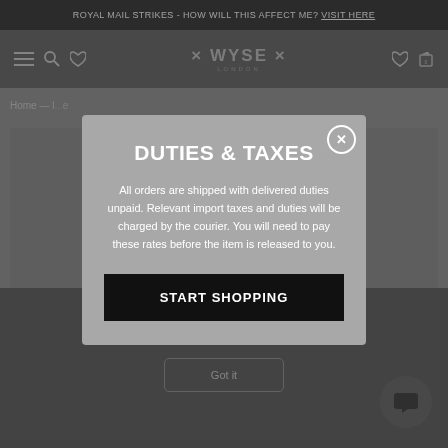ROYAL MAIL STRIKES - HOW WILL THIS AFFECT ME? VISIT HERE
[Figure (screenshot): WYSE London e-commerce website navigation bar with hamburger menu, search, phone icons on left, WYSE LONDON logo in center, heart and bag icons on right]
Home —
DUTIES & TAXES
All orders are shipped with delivered duties unpaid. Relevant import taxes and duties will be charged by the courier. You will need to pay these rates before the item is released to you.
START SHOPPING
This ... you accept our
privacy policy.
Got it